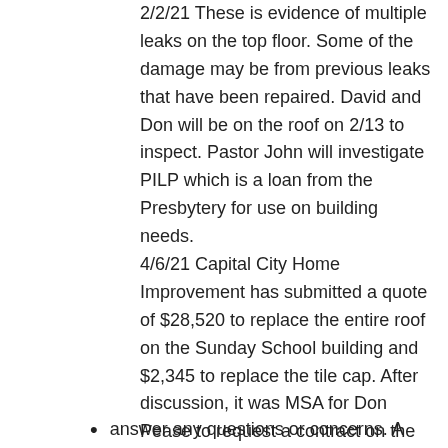2/2/21 These is evidence of multiple leaks on the top floor. Some of the damage may be from previous leaks that have been repaired. David and Don will be on the roof on 2/13 to inspect. Pastor John will investigate PILP which is a loan from the Presbytery for use on building needs. 4/6/21 Capital City Home Improvement has submitted a quote of $28,520 to replace the entire roof on the Sunday School building and $2,345 to replace the tile cap. After discussion, it was MSA for Don Pease to request a contract on the quotes and they will be reviewed at the next meeting. A representative may be requested to attend the meeting to
2
answer any questions or concerns. A budget